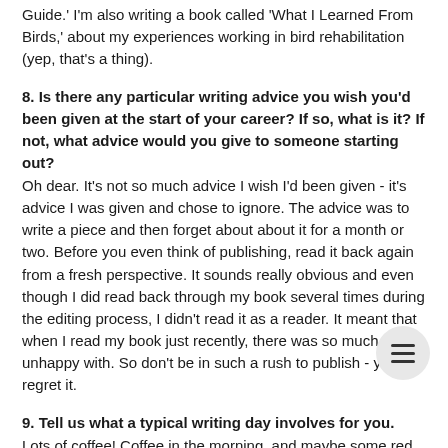Guide.' I'm also writing a book called 'What I Learned From Birds,' about my experiences working in bird rehabilitation (yep, that's a thing).
8. Is there any particular writing advice you wish you'd been given at the start of your career? If so, what is it? If not, what advice would you give to someone starting out?
Oh dear. It's not so much advice I wish I'd been given - it's advice I was given and chose to ignore. The advice was to write a piece and then forget about about it for a month or two. Before you even think of publishing, read it back again from a fresh perspective. It sounds really obvious and even though I did read back through my book several times during the editing process, I didn't read it as a reader. It meant that when I read my book just recently, there was so much I was unhappy with. So don't be in such a rush to publish - you'll regret it.
9. Tell us what a typical writing day involves for you.
Lots of coffee! Coffee in the morning, and maybe some red wine or Pimms in the afternoon... At the moment, I love getting out into the